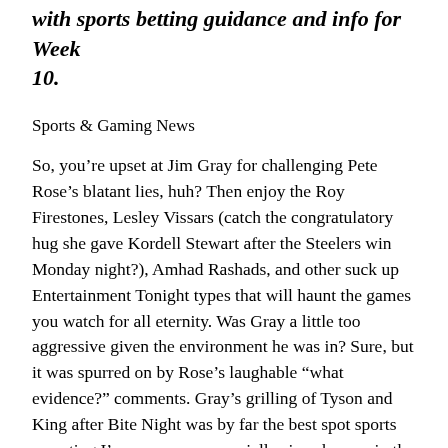with sports betting guidance and info for Week 10.
Sports & Gaming News
So, you’re upset at Jim Gray for challenging Pete Rose’s blatant lies, huh? Then enjoy the Roy Firestones, Lesley Vissars (catch the congratulatory hug she gave Kordell Stewart after the Steelers win Monday night?), Amhad Rashads, and other suck up Entertainment Tonight types that will haunt the games you watch for all eternity. Was Gray a little too aggressive given the environment he was in? Sure, but it was spurred on by Rose’s laughable “what evidence?” comments. Gray’s grilling of Tyson and King after Bite Night was by far the best spot sports reporting I’ve ever seen, especially since he was in the employ of Don King productions that night. Pete Rose, my boyhood hero and the reason I sprinted to first base after walks and slid headfirst,